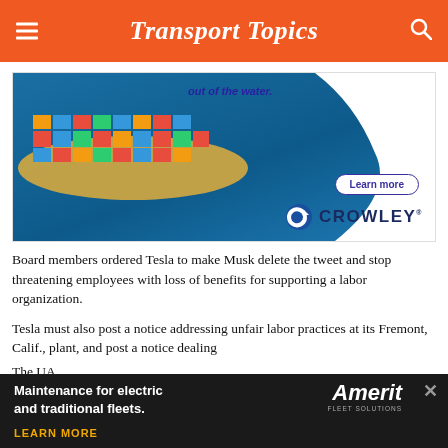Transport Topics
[Figure (photo): Crowley advertisement banner showing aerial view of a container ship on blue ocean water, with tagline 'out of the water.' and a Learn more button]
Board members ordered Tesla to make Musk delete the tweet and stop threatening employees with loss of benefits for supporting a labor organization.
Tesla must also post a notice addressing unfair labor practices at its Fremont, Calif., plant, and post a notice dealing
The UA
[Figure (infographic): Amerit Fleet Solutions advertisement: 'Maintenance for electric and traditional fleets.' with a LEARN MORE call-to-action button and Amerit logo]